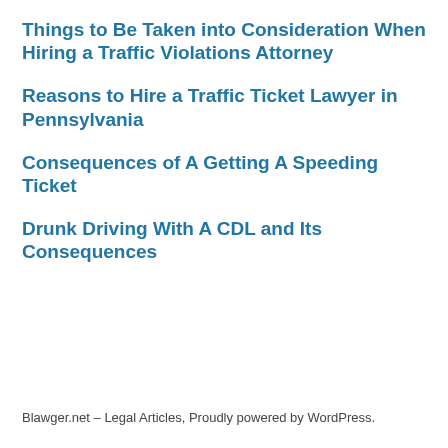Things to Be Taken into Consideration When Hiring a Traffic Violations Attorney
Reasons to Hire a Traffic Ticket Lawyer in Pennsylvania
Consequences of A Getting A Speeding Ticket
Drunk Driving With A CDL and Its Consequences
Blawger.net – Legal Articles, Proudly powered by WordPress.